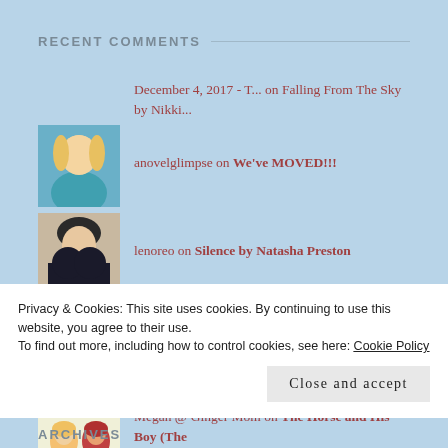RECENT COMMENTS
December 4, 2017 - T... on Falling From The Sky by Nikki...
anovelglimpse on We've MOVED!!!
lenoreo on Silence by Natasha Preston
Megan @ Ginger Mom on Silence by Natasha Preston
Megan @ Ginger Mom on The Horse and His Boy (The
Privacy & Cookies: This site uses cookies. By continuing to use this website, you agree to their use.
To find out more, including how to control cookies, see here: Cookie Policy
Close and accept
ARCHIVES